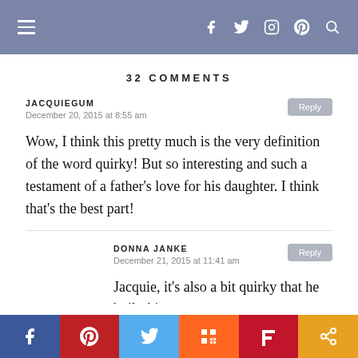≡  f  Twitter  Instagram  Pinterest  Search
32 COMMENTS
JACQUIEGUM
December 20, 2015 at 8:55 am
Wow, I think this pretty much is the very definition of the word quirky! But so interesting and such a testament of a father's love for his daughter. I think that's the best part!
DONNA JANKE
December 21, 2015 at 11:41 am
Jacquie, it's also a bit quirky that he built this
Facebook Pinterest Twitter Mix Flipboard Share